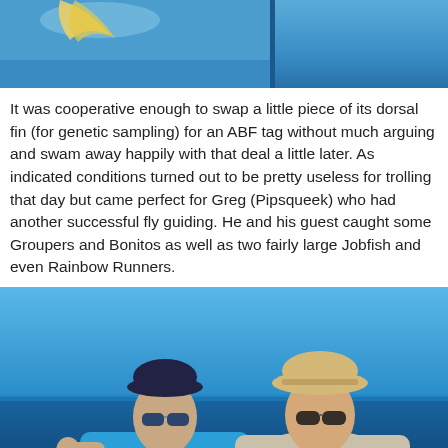[Figure (photo): Top partial photo showing blue water/sky background with a light-colored shape, split by a dark vertical divider into two panels]
It was cooperative enough to swap a little piece of its dorsal fin (for genetic sampling) for an ABF tag without much arguing and swam away happily with that deal a little later. As indicated conditions turned out to be pretty useless for trolling that day but came perfect for Greg (Pipsqueek) who had another successful fly guiding. He and his guest caught some Groupers and Bonitos as well as two fairly large Jobfish and even Rainbow Runners.
[Figure (photo): Two men smiling on a boat at sea. The man on the left wears a blue cap and sunglasses, holding a fish. The man on the right wears a tan bucket hat and sunglasses. Blue ocean and sky in background.]